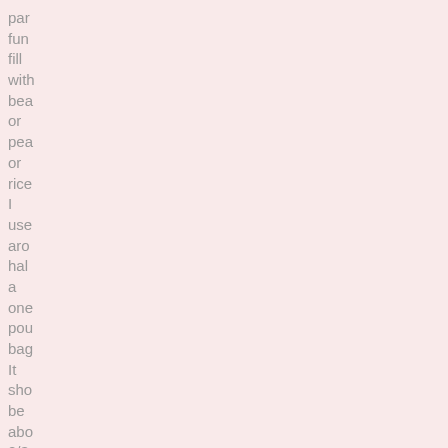par fun fill with bea or pea or rice I use aro hal a one pou bag It sho be abo 2/3 full